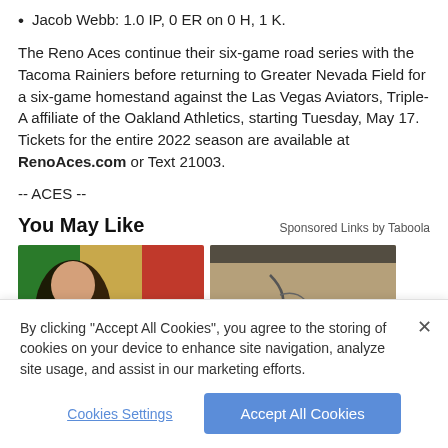Jacob Webb: 1.0 IP, 0 ER on 0 H, 1 K.
The Reno Aces continue their six-game road series with the Tacoma Rainiers before returning to Greater Nevada Field for a six-game homestand against the Las Vegas Aviators, Triple-A affiliate of the Oakland Athletics, starting Tuesday, May 17. Tickets for the entire 2022 season are available at RenoAces.com or Text 21003.
-- ACES --
You May Like
Sponsored Links by Taboola
[Figure (photo): Two side-by-side thumbnail images for sponsored content links]
By clicking “Accept All Cookies”, you agree to the storing of cookies on your device to enhance site navigation, analyze site usage, and assist in our marketing efforts.
Cookies Settings
Accept All Cookies